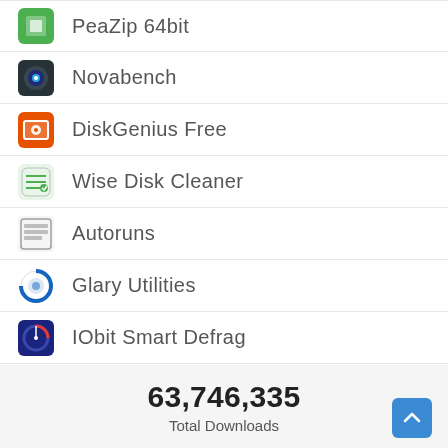PeaZip 64bit
Novabench
DiskGenius Free
Wise Disk Cleaner
Autoruns
Glary Utilities
IObit Smart Defrag
Speccy
Hyper
63,746,335
Total Downloads